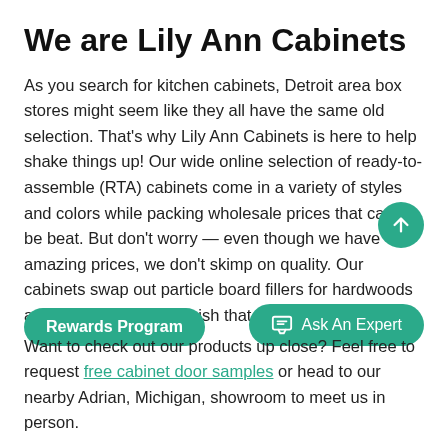We are Lily Ann Cabinets
As you search for kitchen cabinets, Detroit area box stores might seem like they all have the same old selection. That's why Lily Ann Cabinets is here to help shake things up! Our wide online selection of ready-to-assemble (RTA) cabinets come in a variety of styles and colors while packing wholesale prices that can't be beat. But don't worry — even though we have amazing prices, we don't skimp on quality. Our cabinets swap out particle board fillers for hardwoods and several layers of finish that are made to last.
Want to check out our products up close? Feel free to request free cabinet door samples or head to our nearby Adrian, Michigan, showroom to meet us in person.